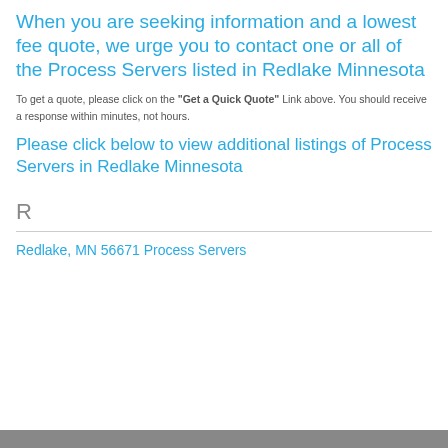When you are seeking information and a lowest fee quote, we urge you to contact one or all of the Process Servers listed in Redlake Minnesota
To get a quote, please click on the "Get a Quick Quote" Link above. You should receive a response within minutes, not hours.
Please click below to view additional listings of Process Servers in Redlake Minnesota
R
Redlake, MN 56671 Process Servers